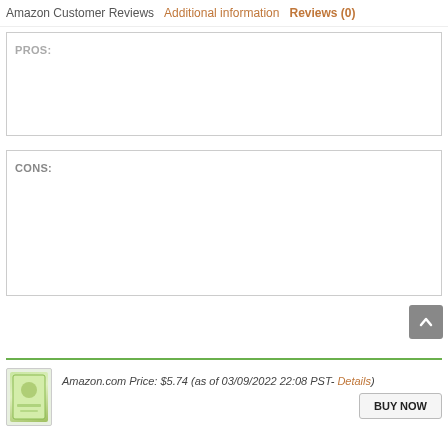Amazon Customer Reviews  Additional information  Reviews (0)
PROS:
CONS:
Amazon.com Price: $5.74 (as of 03/09/2022 22:08 PST- Details)
BUY NOW